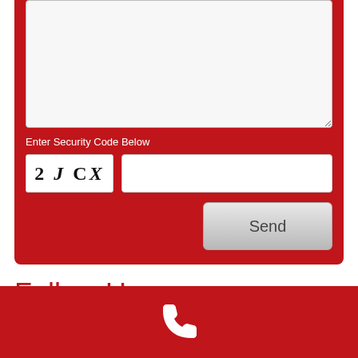[Figure (screenshot): Contact form area with a text area input (light gray, partially shown at top), a CAPTCHA security image showing '2 J CX' in serif font, a text input field for security code, and a Send button, all on a dark red background.]
Enter Security Code Below
[Figure (other): CAPTCHA image showing '2 J CX' characters in serif/italic font on white background]
Follow Us:
[Figure (other): Footer bar in dark red with a white phone/call icon in the center]